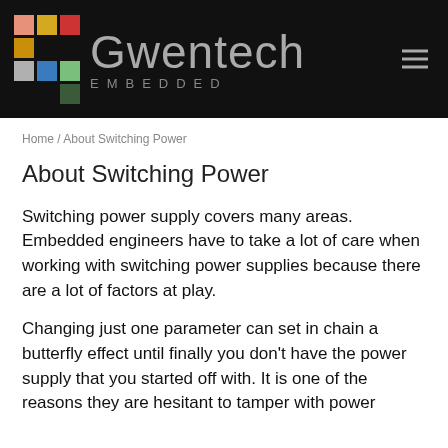[Figure (logo): Gwentech Embedded logo with colored square grid and text on black background]
Home / About Switching Power
About Switching Power
Switching power supply covers many areas. Embedded engineers have to take a lot of care when working with switching power supplies because there are a lot of factors at play.
Changing just one parameter can set in chain a butterfly effect until finally you don't have the power supply that you started off with. It is one of the reasons they are hesitant to tamper with power